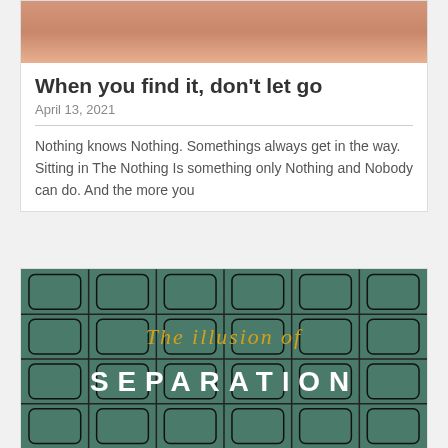[Figure (photo): Partial view of a photo showing a peach/skin-toned background, top portion of an article card]
When you find it, don't let go
April 13, 2021
Nothing knows Nothing. Somethings always get in the way. Sitting in The Nothing Is something only Nothing and Nobody can do. And the more you
[Figure (photo): Book cover image for 'The illusion of SEPARATION' showing a teal/green puzzle-piece pattern background with yellow italic text reading 'The illusion of' and white bold spaced text reading 'S E P A R A T I O N']